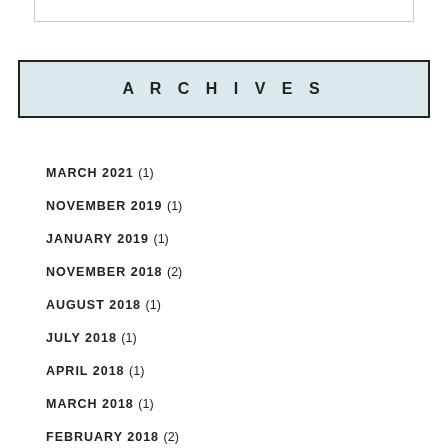ARCHIVES
MARCH 2021 (1)
NOVEMBER 2019 (1)
JANUARY 2019 (1)
NOVEMBER 2018 (2)
AUGUST 2018 (1)
JULY 2018 (1)
APRIL 2018 (1)
MARCH 2018 (1)
FEBRUARY 2018 (2)